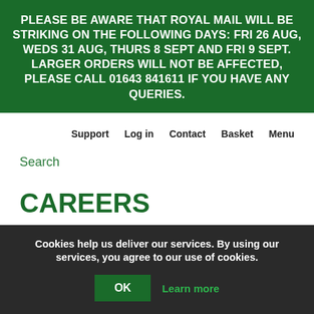PLEASE BE AWARE THAT ROYAL MAIL WILL BE STRIKING ON THE FOLLOWING DAYS: FRI 26 AUG, WEDS 31 AUG, THURS 8 SEPT AND FRI 9 SEPT. LARGER ORDERS WILL NOT BE AFFECTED, PLEASE CALL 01643 841611 IF YOU HAVE ANY QUERIES.
Support  Log in  Contact  Basket  Menu
Search
CAREERS
WORKING AT SHEARWELL
Cookies help us deliver our services. By using our services, you agree to our use of cookies.
OK  Learn more